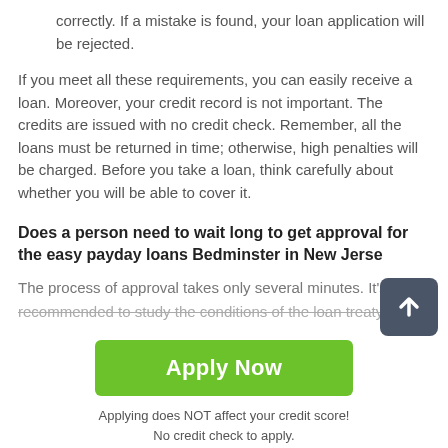correctly. If a mistake is found, your loan application will be rejected.
If you meet all these requirements, you can easily receive a loan. Moreover, your credit record is not important. The credits are issued with no credit check. Remember, all the loans must be returned in time; otherwise, high penalties will be charged. Before you take a loan, think carefully about whether you will be able to cover it.
Does a person need to wait long to get approval for the easy payday loans Bedminster in New Jersey
The process of approval takes only several minutes. It's recommended to study the conditions of the loan treaty
[Figure (other): Green Apply Now button with text 'Apply Now']
Applying does NOT affect your credit score!
No credit check to apply.